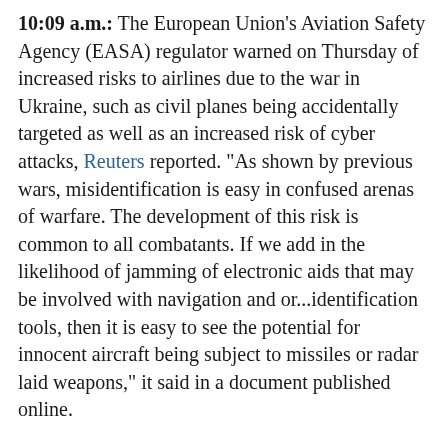10:09 a.m.: The European Union's Aviation Safety Agency (EASA) regulator warned on Thursday of increased risks to airlines due to the war in Ukraine, such as civil planes being accidentally targeted as well as an increased risk of cyber attacks, Reuters reported. "As shown by previous wars, misidentification is easy in confused arenas of warfare. The development of this risk is common to all combatants. If we add in the likelihood of jamming of electronic aids that may be involved with navigation and or...identification tools, then it is easy to see the potential for innocent aircraft being subject to missiles or radar laid weapons," it said in a document published online.
9:58 a.m.:
[Figure (screenshot): Tweet card from AFP News Agency (@AFP), verified account, dated May 5, 2022, with AFP logo (blue circle with AFP text) and Twitter bird icon]